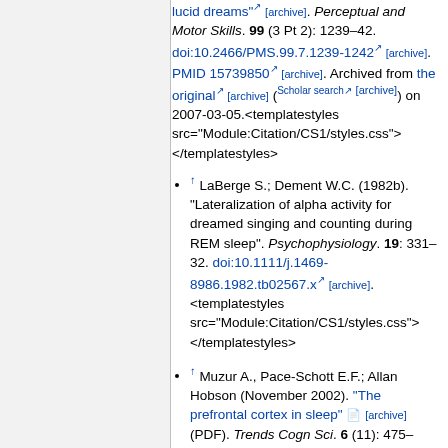continuation: lucid dreams" [archive]. Perceptual and Motor Skills. 99 (3 Pt 2): 1239–42. doi:10.2466/PMS.99.7.1239-1242 [archive]. PMID 15739850 [archive]. Archived from the original [archive] (Scholar search [archive]) on 2007-03-05.<templatestyles src="Module:Citation/CS1/styles.css"></templatestyles>
↑ LaBerge S.; Dement W.C. (1982b). "Lateralization of alpha activity for dreamed singing and counting during REM sleep". Psychophysiology. 19: 331–32. doi:10.1111/j.1469-8986.1982.tb02567.x [archive]. <templatestyles src="Module:Citation/CS1/styles.css"></templatestyles>
↑ Muzur A., Pace-Schott E.F.; Allan Hobson (November 2002). "The prefrontal cortex in sleep" [archive] (PDF). Trends Cogn Sci. 6 (11): 475–